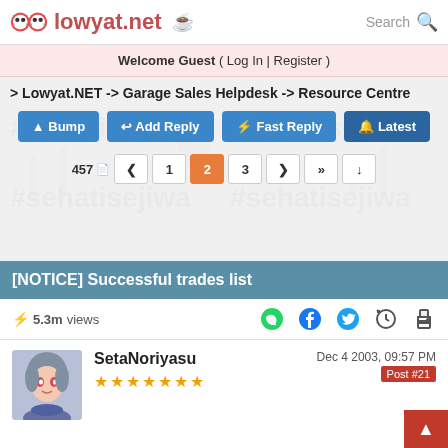lowyat.net
Welcome Guest ( Log In | Register )
> Lowyat.NET -> Garage Sales Helpdesk -> Resource Centre
Bump | Add Reply | Fast Reply | Latest
457 pages | < 1 2 3 > >> ↓
[NOTICE] Successful trades list
⚡ 5.3m views
SetaNoriyasu
Dec 4 2003, 09:57 PM Post #21